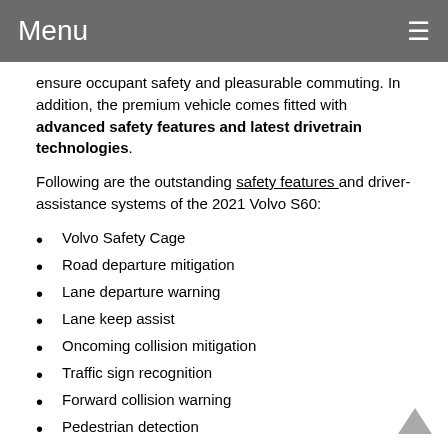Menu
ensure occupant safety and pleasurable commuting. In addition, the premium vehicle comes fitted with advanced safety features and latest drivetrain technologies.
Following are the outstanding safety features and driver-assistance systems of the 2021 Volvo S60:
Volvo Safety Cage
Road departure mitigation
Lane departure warning
Lane keep assist
Oncoming collision mitigation
Traffic sign recognition
Forward collision warning
Pedestrian detection
360-degree Camera
Pilot Assist
Rear parking sensors
Rearview camera
Forward automatic emergency braking
Blind spot monitoring